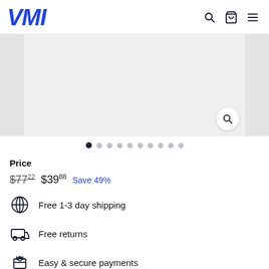VMI
[Figure (photo): Product image placeholder with zoom button, shown in a carousel with side strips. White/light gray background.]
● ○ ○ ○ ○ ○ ○ ○ ○ ○ (carousel dots, first dot active)
Price
$77.22  $39.88  Save 49%
Free 1-3 day shipping
Free returns
Easy & secure payments